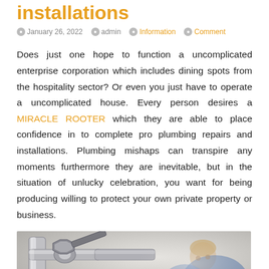installations
January 26, 2022  admin  Information  Comment
Does just one hope to function a uncomplicated enterprise corporation which includes dining spots from the hospitality sector? Or even you just have to operate a uncomplicated house. Every person desires a MIRACLE ROOTER which they are able to place confidence in to complete pro plumbing repairs and installations. Plumbing mishaps can transpire any moments furthermore they are inevitable, but in the situation of unlucky celebration, you want for being producing willing to protect your own private property or business.
[Figure (photo): A person working on plumbing pipes/fixtures, close-up view of chrome plumbing hardware]